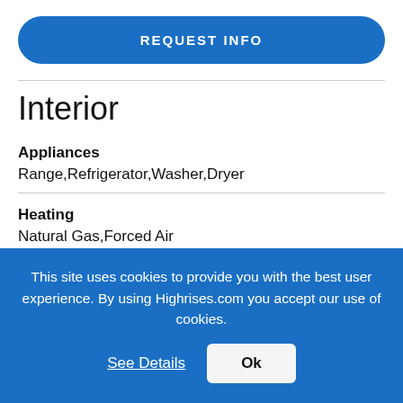REQUEST INFO
Interior
Appliances
Range,Refrigerator,Washer,Dryer
Heating
Natural Gas,Forced Air
This site uses cookies to provide you with the best user experience. By using Highrises.com you accept our use of cookies.
See Details
Ok